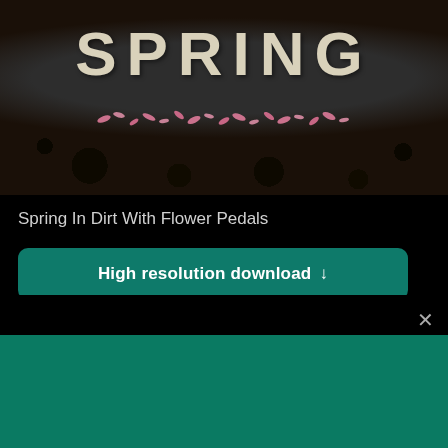[Figure (photo): Photo of dark soil/dirt with the word SPRING written in white powder/salt letters, with pink flower petals scattered across the middle]
Spring In Dirt With Flower Pedals
High resolution download ↓
[Figure (logo): Shopify logo with shopping bag icon and italic shopify text]
Need an online store for your business?
Start free trial